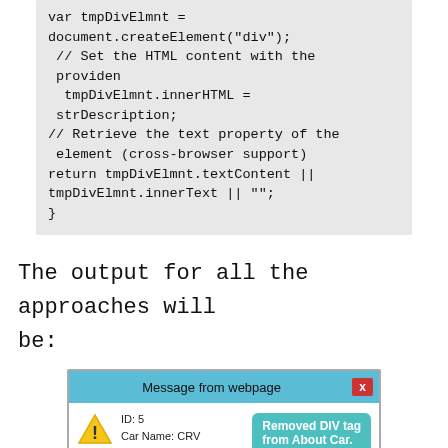var tmpDivElmnt =
document.createElement("div");
 // Set the HTML content with the provided
  tmpDivElmnt.innerHTML =
strDescription;
// Retrieve the text property of the element (cross-browser support)
return tmpDivElmnt.textContent ||
tmpDivElmnt.innerText || "";
}
The output for all the approaches will be:
[Figure (screenshot): A browser dialog popup titled 'Message from webpage' with a red X close button. The dialog body shows a warning icon, text 'ID: 5' and 'Car Name: CRV', and a teal tooltip bubble saying 'Removed DIV tag from About Car.']